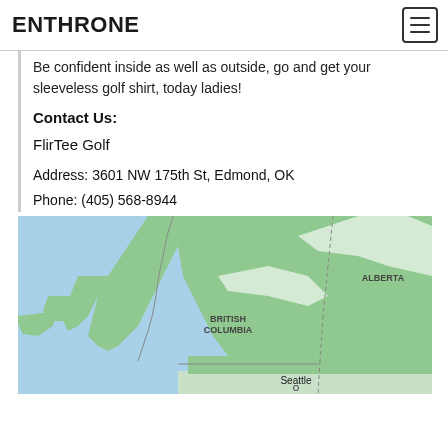ENTHRONE
Be confident inside as well as outside, go and get your sleeveless golf shirt, today ladies!
Contact Us:
FlirTee Golf
Address: 3601 NW 175th St, Edmond, OK
Phone: (405) 568-8944
[Figure (map): Google Maps screenshot showing British Columbia, Alberta, and Seattle area. The Pacific Ocean (blue) is on the left, green land areas show British Columbia labeled in the center, Alberta labeled in the upper right, and Seattle labeled at the bottom center.]